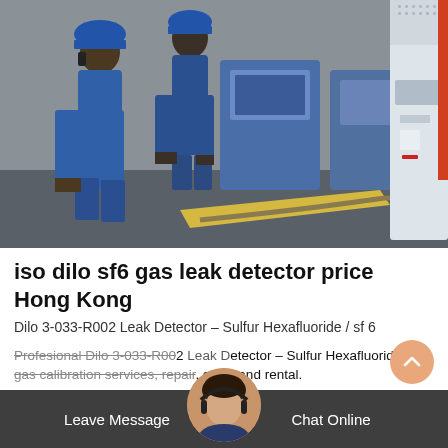[Figure (photo): Two workers in blue coveralls and hard hats standing in an industrial facility next to blue SF6 gas leak detector equipment and other white industrial machines. Yellow cable on concrete floor.]
iso dilo sf6 gas leak detector price Hong Kong
Dilo 3-033-R002 Leak Detector – Sulfur Hexafluoride / sf 6
Profesional Dilo 3-033-R002 Leak Detector – Sulfur Hexafluoride / sf6 gas calibration services, repair, sales and rental.